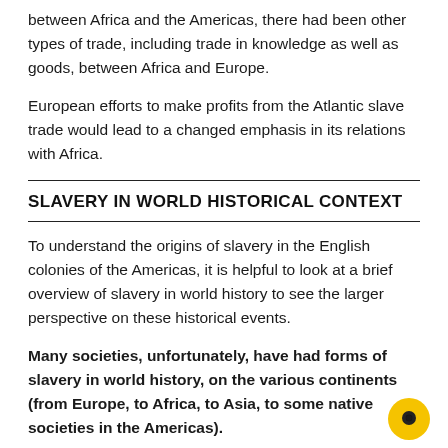between Africa and the Americas, there had been other types of trade, including trade in knowledge as well as goods, between Africa and Europe.
European efforts to make profits from the Atlantic slave trade would lead to a changed emphasis in its relations with Africa.
SLAVERY IN WORLD HISTORICAL CONTEXT
To understand the origins of slavery in the English colonies of the Americas, it is helpful to look at a brief overview of slavery in world history to see the larger perspective on these historical events.
Many societies, unfortunately, have had forms of slavery in world history, on the various continents (from Europe, to Africa, to Asia, to some native societies in the Americas).
For example, prisoners of war from many different backgrounds were